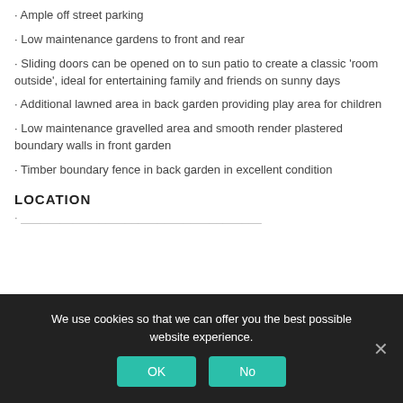· Ample off street parking
· Low maintenance gardens to front and rear
· Sliding doors can be opened on to sun patio to create a classic 'room outside', ideal for entertaining family and friends on sunny days
· Additional lawned area in back garden providing play area for children
· Low maintenance gravelled area and smooth render plastered boundary walls in front garden
· Timber boundary fence in back garden in excellent condition
LOCATION
· [partial text cut off]
We use cookies so that we can offer you the best possible website experience.